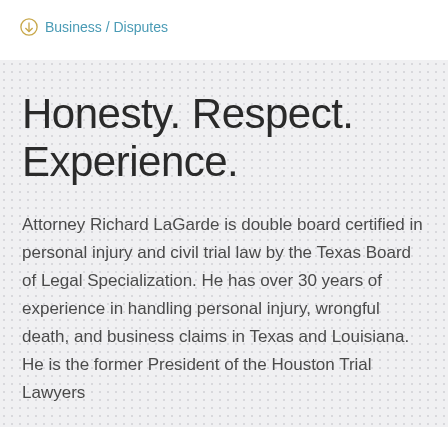Business / Disputes
Honesty. Respect. Experience.
Attorney Richard LaGarde is double board certified in personal injury and civil trial law by the Texas Board of Legal Specialization. He has over 30 years of experience in handling personal injury, wrongful death, and business claims in Texas and Louisiana. He is the former President of the Houston Trial Lawyers